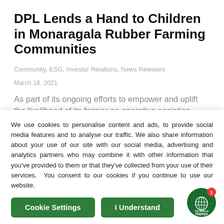DPL Lends a Hand to Children in Monaragala Rubber Farming Communities
Community, ESG, Investor Relations, News Releases · March 16, 2021
As part of its ongoing efforts to empower and uplift the livelihood of its farmer co-operative societies, Dipped Products PLC (DPL) distributed
We use cookies to personalise content and ads, to provide social media features and to analyse our traffic. We also share information about your use of our site with our social media, advertising and analytics partners who may combine it with other information that you've provided to them or that they've collected from your use of their services. You consent to our cookies if you continue to use our website.
Cookie Settings | I Understand
[Figure (logo): Hayleys The World of Hayleys circular logo badge with notification badge showing number 1]